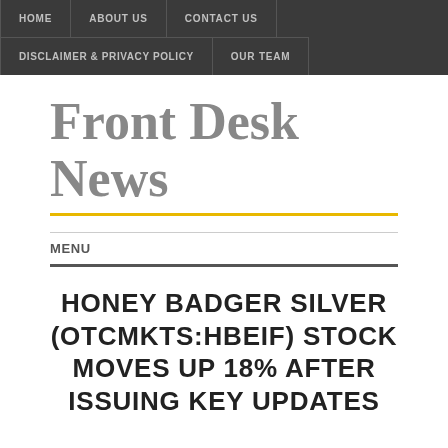HOME   ABOUT US   CONTACT US   DISCLAIMER & PRIVACY POLICY   OUR TEAM
Front Desk News
MENU
HONEY BADGER SILVER (OTCMKTS:HBEIF) STOCK MOVES UP 18% AFTER ISSUING KEY UPDATES